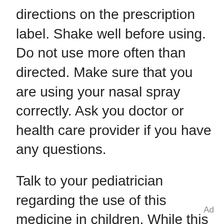directions on the prescription label. Shake well before using. Do not use more often than directed. Make sure that you are using your nasal spray correctly. Ask you doctor or health care provider if you have any questions.
Talk to your pediatrician regarding the use of this medicine in children. While this drug may be prescribed for children as young as 6 years for selected conditions, precautions do apply.
Overdosage: If you think you have taken too much of this medicine contact a poison control
Ad